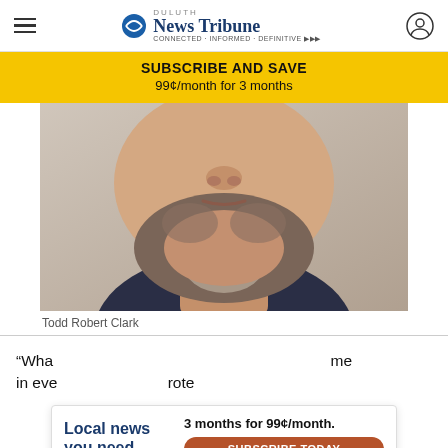Duluth News Tribune
[Figure (infographic): Yellow subscribe and save banner: SUBSCRIBE AND SAVE / 99¢/month for 3 months]
[Figure (photo): Mugshot/booking photo of Todd Robert Clark, a heavyset man with short hair and a salt-and-pepper beard, wearing a dark navy shirt, photographed against a light beige background. Only the lower face, neck, and upper chest are visible.]
Todd Robert Clark
“Wha… me in eve… rote
[Figure (infographic): Ad overlay: Local news you need. 3 months for 99¢/month. SUBSCRIBE TODAY]